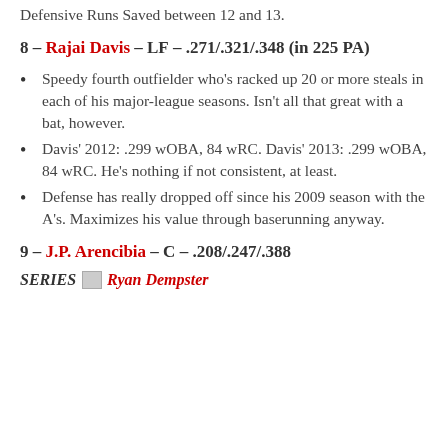Defensive Runs Saved between 12 and 13.
8 – Rajai Davis – LF – .271/.321/.348 (in 225 PA)
Speedy fourth outfielder who's racked up 20 or more steals in each of his major-league seasons. Isn't all that great with a bat, however.
Davis' 2012: .299 wOBA, 84 wRC. Davis' 2013: .299 wOBA, 84 wRC. He's nothing if not consistent, at least.
Defense has really dropped off since his 2009 season with the A's. Maximizes his value through baserunning anyway.
9 – J.P. Arencibia – C – .208/.247/.388
SERIES Ryan Dempster